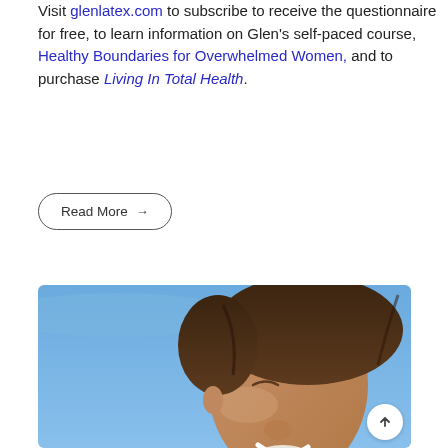Visit glenlatex.com to subscribe to receive the questionnaire for free, to learn information on Glen's self-paced course, Healthy Boundaries for Overwhelmed Women, and to purchase Living In Total Health.
Read More →
[Figure (photo): Close-up photo of a woman with dark hair, eyes closed, smiling, against a blue sky background.]